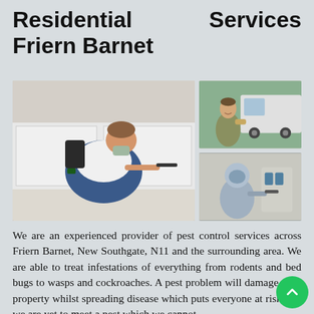Residential Services Friern Barnet
[Figure (photo): Collage of three pest control images: left - technician in mask and overalls spraying under kitchen cabinets, top right - smiling pest control worker in uniform standing by a van, bottom right - technician in full protective suit using spray equipment]
We are an experienced provider of pest control services across Friern Barnet, New Southgate, N11 and the surrounding area. We are able to treat infestations of everything from rodents and bed bugs to wasps and cockroaches. A pest problem will damage your property whilst spreading disease which puts everyone at risk, but we are yet to meet a pest which we cannot